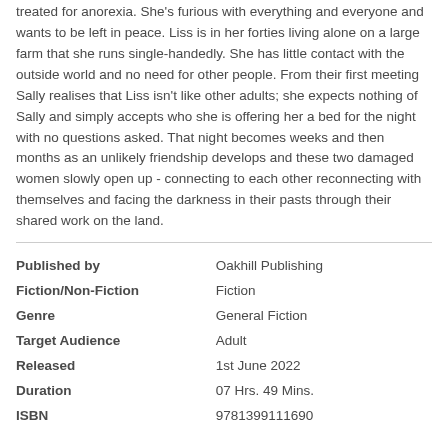treated for anorexia. She's furious with everything and everyone and wants to be left in peace. Liss is in her forties living alone on a large farm that she runs single-handedly. She has little contact with the outside world and no need for other people. From their first meeting Sally realises that Liss isn't like other adults; she expects nothing of Sally and simply accepts who she is offering her a bed for the night with no questions asked. That night becomes weeks and then months as an unlikely friendship develops and these two damaged women slowly open up - connecting to each other reconnecting with themselves and facing the darkness in their pasts through their shared work on the land.
| Field | Value |
| --- | --- |
| Published by | Oakhill Publishing |
| Fiction/Non-Fiction | Fiction |
| Genre | General Fiction |
| Target Audience | Adult |
| Released | 1st June 2022 |
| Duration | 07 Hrs. 49 Mins. |
| ISBN | 9781399111690 |